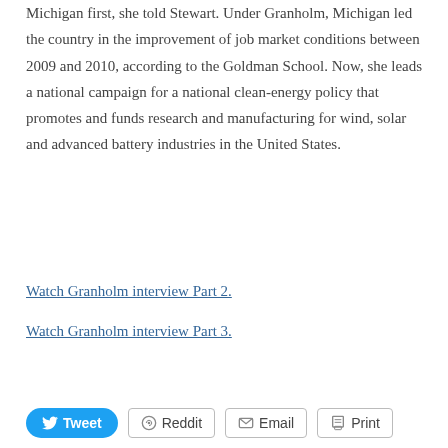Michigan first, she told Stewart. Under Granholm, Michigan led the country in the improvement of job market conditions between 2009 and 2010, according to the Goldman School. Now, she leads a national campaign for a national clean-energy policy that promotes and funds research and manufacturing for wind, solar and advanced battery industries in the United States.
Watch Granholm interview Part 2.
Watch Granholm interview Part 3.
Tweet | Reddit | Email | Print